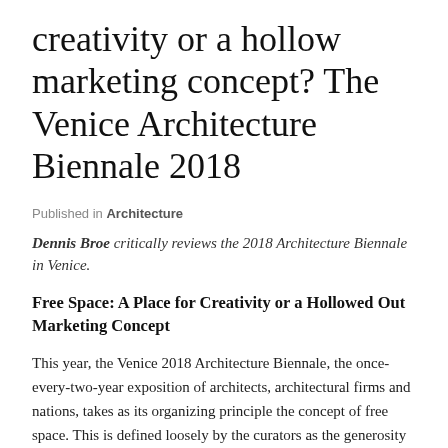creativity or a hollow marketing concept? The Venice Architecture Biennale 2018
Published in Architecture
Dennis Broe critically reviews the 2018 Architecture Biennale in Venice.
Free Space: A Place for Creativity or a Hollowed Out Marketing Concept
This year, the Venice 2018 Architecture Biennale, the once-every-two-year exposition of architects, architectural firms and nations, takes as its organizing principle the concept of free space. This is defined loosely by the curators as the generosity of the architect in working with nature's gifts of light, air and gravity, to give shelter to our bodies and lift our spirits.